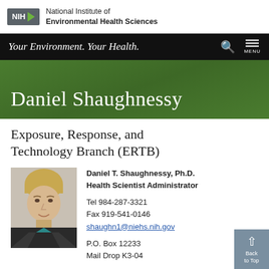[Figure (logo): NIH - National Institute of Environmental Health Sciences logo with grey badge and green chevron]
Your Environment. Your Health.
Daniel Shaughnessy
Exposure, Response, and Technology Branch (ERTB)
[Figure (photo): Headshot photo of Daniel T. Shaughnessy, a man with light brown hair wearing a dark jacket and teal collar]
Daniel T. Shaughnessy, Ph.D.
Health Scientist Administrator
Tel 984-287-3321
Fax 919-541-0146
shaughn1@niehs.nih.gov
P.O. Box 12233
Mail Drop K3-04